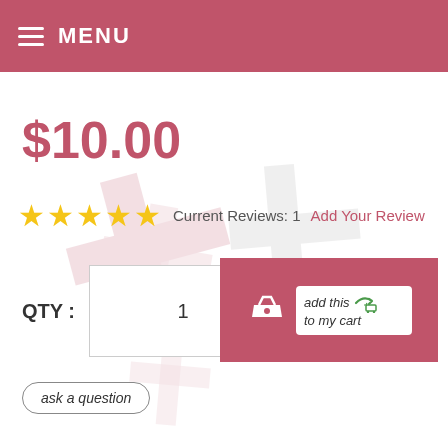MENU
$10.00
★★★★★  Current Reviews: 1  Add Your Review
[Figure (infographic): Watermark crosses in pink and gray tones in background]
QTY :  1
[Figure (infographic): Add to cart button with basket icon and 'add this to my cart' label]
ask a question